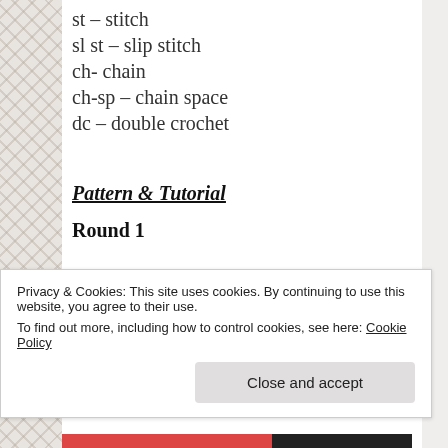st – stitch
sl st – slip stitch
ch- chain
ch-sp – chain space
dc – double crochet
Pattern & Tutorial
Round 1
Privacy & Cookies: This site uses cookies. By continuing to use this website, you agree to their use.
To find out more, including how to control cookies, see here: Cookie Policy
Close and accept